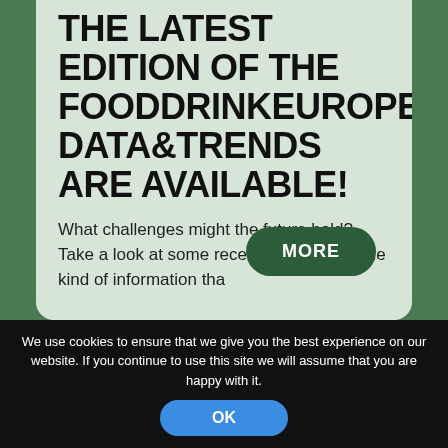THE LATEST EDITION OF THE FOODDRINKEUROPE'S DATA&TRENDS ARE AVAILABLE!
What challenges might the future hold? Take a look at some recent data. This is the kind of information tha...
MORE
We use cookies to ensure that we give you the best experience on our website. If you continue to use this site we will assume that you are happy with it.
OK